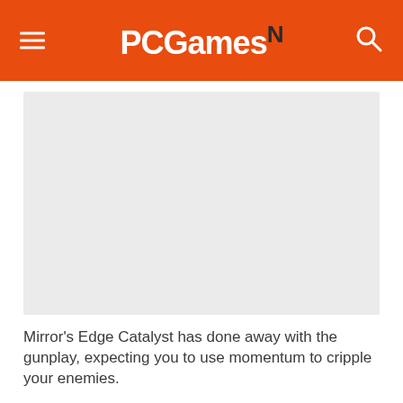PCGamesN
[Figure (photo): Large grey placeholder image area for Mirror's Edge Catalyst screenshot]
Mirror's Edge Catalyst has done away with the gunplay, expecting you to use momentum to cripple your enemies.